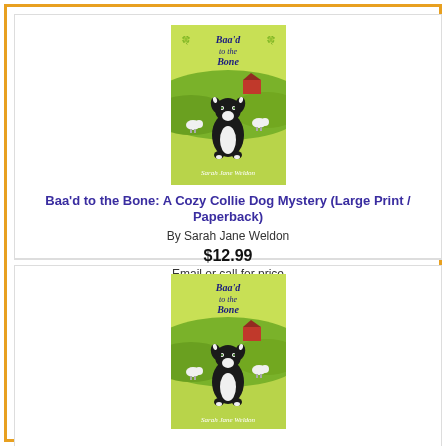[Figure (illustration): Book cover of 'Baa'd to the Bone: A Cozy Collie Dog Mystery' by Sarah Jane Weldon. Green background with a Border Collie dog in the center, sheep and a barn in the background.]
Baa'd to the Bone: A Cozy Collie Dog Mystery (Large Print / Paperback)
By Sarah Jane Weldon
$12.99
Email or call for price
[Figure (illustration): Second book cover of 'Baa'd to the Bone' by Sarah Jane Weldon (partial view). Same green cover with Border Collie dog.]